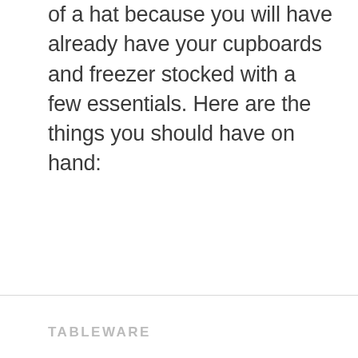of a hat because you will have already have your cupboards and freezer stocked with a few essentials. Here are the things you should have on hand:
TABLEWARE